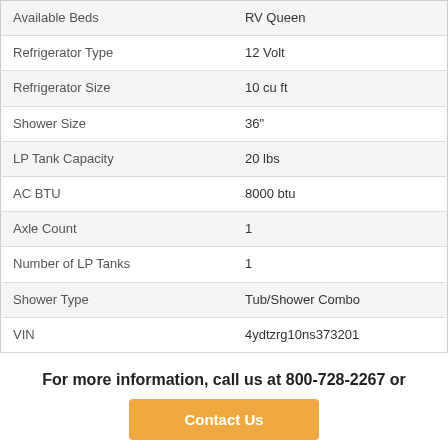| Feature | Value |
| --- | --- |
| Available Beds | RV Queen |
| Refrigerator Type | 12 Volt |
| Refrigerator Size | 10 cu ft |
| Shower Size | 36" |
| LP Tank Capacity | 20 lbs |
| AC BTU | 8000 btu |
| Axle Count | 1 |
| Number of LP Tanks | 1 |
| Shower Type | Tub/Shower Combo |
| VIN | 4ydtzrg10ns373201 |
For more information, call us at 800-728-2267 or
Contact Us
2022 ZR18BH Features and Options
CrossRoads RV Zinger Lite travel trailer ZR18BH